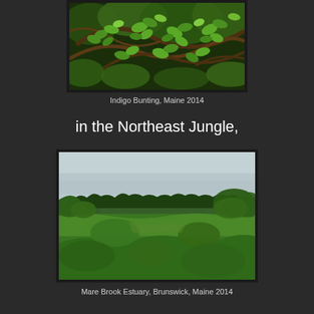[Figure (photo): Close-up photograph of green leaves and branches, dense foliage with twisting brown branches and bright green leaves]
Indigo Bunting, Maine 2014
in the Northeast Jungle,
[Figure (photo): Landscape photograph of Mare Brook Estuary in Brunswick, Maine showing green meadows, tree lines, a body of water in the background, and an overcast sky]
Mare Brook Estuary, Brunswick, Maine 2014